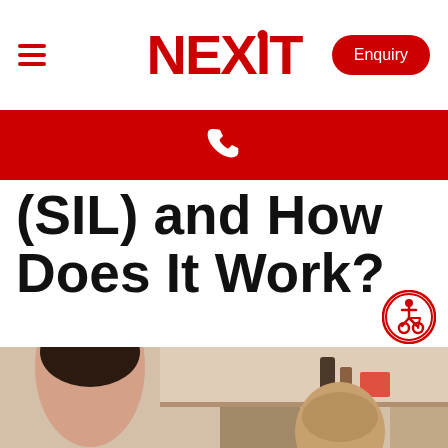NEXIT — Enquiry
[Figure (screenshot): Red bar with white phone icon]
(SIL) and How Does It Work?
[Figure (photo): Two people in a kitchen, one woman seen from behind with dark hair, one smiling bald man facing the camera, kitchen shelves with bottles and cookware in background]